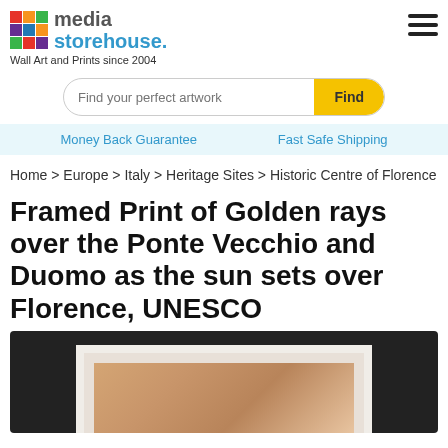[Figure (logo): Media Storehouse logo with colorful grid icon and blue text]
Wall Art and Prints since 2004
Find your perfect artwork
Money Back Guarantee    Fast Safe Shipping
Home > Europe > Italy > Heritage Sites > Historic Centre of Florence
Framed Print of Golden rays over the Ponte Vecchio and Duomo as the sun sets over Florence, UNESCO
[Figure (photo): Framed print product image showing a dark frame with white mat and partial golden sunset photo of Florence]